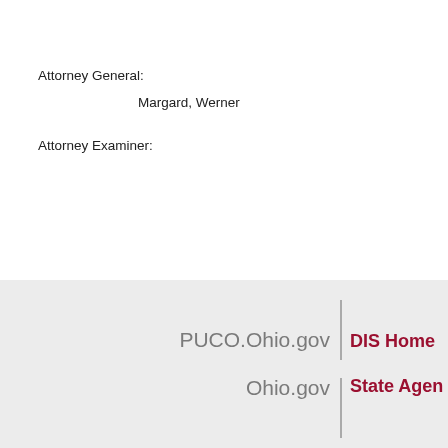Attorney General:
Margard, Werner
Attorney Examiner:
PUCO.Ohio.gov | DIS Home
Ohio.gov | State Agen